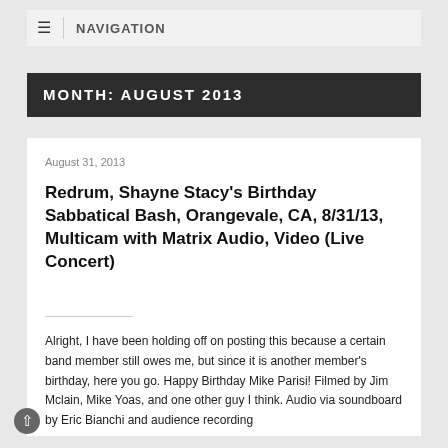≡ NAVIGATION
MONTH: AUGUST 2013
August 31, 2013
Redrum, Shayne Stacy's Birthday Sabbatical Bash, Orangevale, CA, 8/31/13, Multicam with Matrix Audio, Video (Live Concert)
Alright, I have been holding off on posting this because a certain band member still owes me, but since it is another member's birthday, here you go. Happy Birthday Mike Parisi! Filmed by Jim Mclain, Mike Yoas, and one other guy I think. Audio via soundboard by Eric Bianchi and audience recording